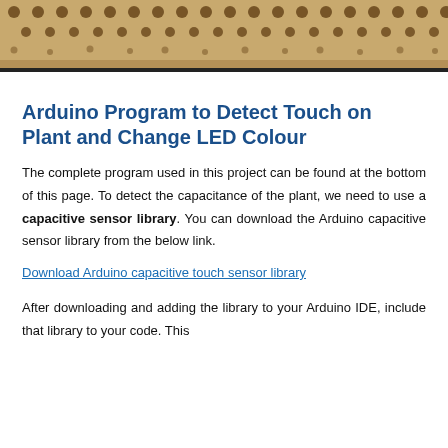[Figure (photo): Close-up photo of a perforated/holed material surface, brownish beige color, showing rows of circular holes like a pegboard or sponge material.]
Arduino Program to Detect Touch on Plant and Change LED Colour
The complete program used in this project can be found at the bottom of this page. To detect the capacitance of the plant, we need to use a capacitive sensor library. You can download the Arduino capacitive sensor library from the below link.
Download Arduino capacitive touch sensor library
After downloading and adding the library to your Arduino IDE, include that library to your code. This